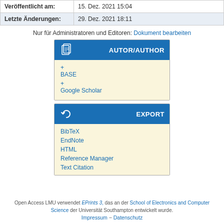|  |  |
| --- | --- |
| Veröffentlicht am: | 15. Dez. 2021 15:04 |
| Letzte Änderungen: | 29. Dez. 2021 18:11 |
Nur für Administratoren und Editoren: Dokument bearbeiten
[Figure (infographic): AUTOR/AUTHOR widget box with links to BASE and Google Scholar]
[Figure (infographic): EXPORT widget box with links to BibTeX, EndNote, HTML, Reference Manager, Text Citation]
Open Access LMU verwendet EPrints 3, das an der School of Electronics and Computer Science der Universität Southampton entwickelt wurde. Impressum – Datenschutz